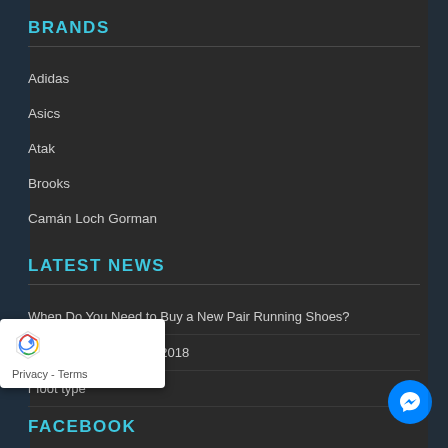BRANDS
Adidas
Asics
Atak
Brooks
Camán Loch Gorman
LATEST NEWS
When Do You Need to Buy a New Pair Running Shoes?
l Dream 10 – April 8th, 2018
r foot type
FACEBOOK